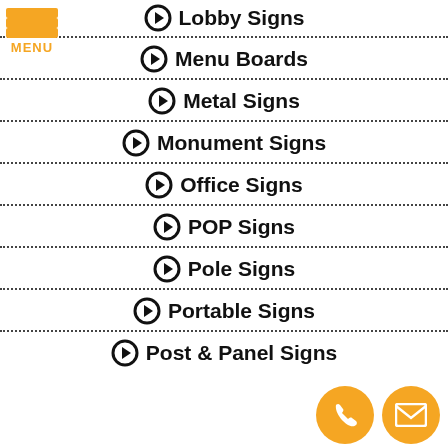[Figure (logo): Orange hamburger menu icon with three horizontal bars and MENU text below]
Lobby Signs
Menu Boards
Metal Signs
Monument Signs
Office Signs
POP Signs
Pole Signs
Portable Signs
Post & Panel Signs
[Figure (illustration): Two orange circular buttons at bottom right: phone icon and email/envelope icon]